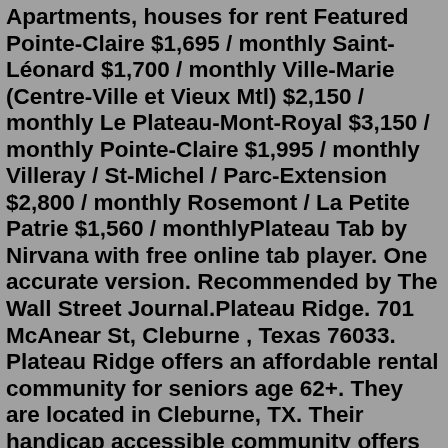Apartments, houses for rent Featured Pointe-Claire $1,695 / monthly Saint-Léonard $1,700 / monthly Ville-Marie (Centre-Ville et Vieux Mtl) $2,150 / monthly Le Plateau-Mont-Royal $3,150 / monthly Pointe-Claire $1,995 / monthly Villeray / St-Michel / Parc-Extension $2,800 / monthly Rosemont / La Petite Patrie $1,560 / monthlyPlateau Tab by Nirvana with free online tab player. One accurate version. Recommended by The Wall Street Journal.Plateau Ridge. 701 McAnear St, Cleburne , Texas 76033. Plateau Ridge offers an affordable rental community for seniors age 62+. They are located in Cleburne, TX. Their handicap accessible community offers studio and one-bedroom floor plans with many amenities offered! Give them a call! Booking Apartments Plateau Apartment, in Tbilisi on Hotellook from $60 per night. Guests have described it as a good apartments with a rating of 7.3 points based on 0 verified guests opinions.Flokkas Hotel Apartments is located 300m from Sunrise Beach in Protaras, Flokkas Apartments The staff speak English, Greek